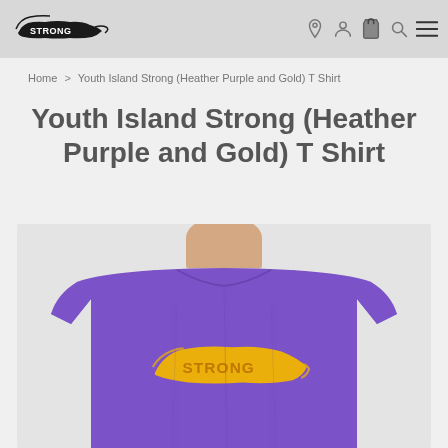Island Strong — site header with logo and navigation icons
Home > Youth Island Strong (Heather Purple and Gold) T Shirt
Youth Island Strong (Heather Purple and Gold) T Shirt
[Figure (photo): Youth wearing a heather purple t-shirt with a gold Island Strong logo graphic on the chest, cropped at neck level, shown against a light grey background.]